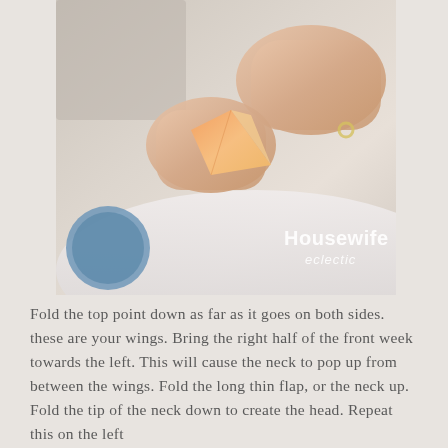[Figure (photo): Hands folding an origami paper bird (orange/peach patterned paper), held over a white surface with a blue circular object visible on the left. Watermark reads 'Housewife eclectic' in bottom right corner.]
Fold the top point down as far as it goes on both sides. these are your wings. Bring the right half of the front week towards the left. This will cause the neck to pop up from between the wings. Fold the long thin flap, or the neck up. Fold the tip of the neck down to create the head. Repeat this on the left